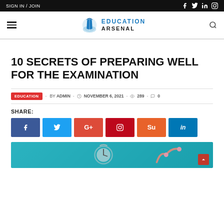SIGN IN / JOIN
[Figure (logo): Education Arsenal logo with open book icon and blue text]
10 SECRETS OF PREPARING WELL FOR THE EXAMINATION
EDUCATION - BY ADMIN - NOVEMBER 6, 2021 - 289 - 0
SHARE:
[Figure (infographic): Social share buttons: Facebook, Twitter, Google+, Pinterest, StumbleUpon, LinkedIn]
[Figure (illustration): Teal background article header image showing a stopwatch and hands]